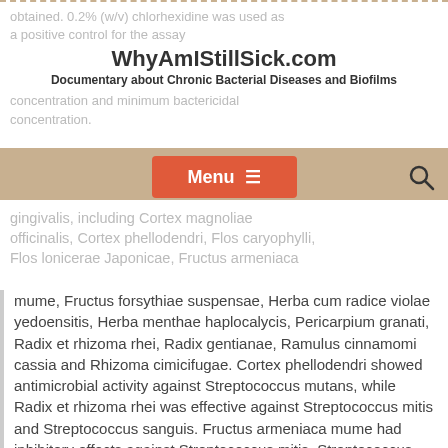WhyAmIStillSick.com
Documentary about Chronic Bacterial Diseases and Biofilms
obtained. 0.2% (w/v) chlorhexidine was used as a positive control for the assay concentration and minimum bactericidal concentration.
Menu
gingivalis, including Cortex magnoliae officinalis, Cortex phellodendri, Flos caryophylli, Flos lonicerae Japonicae, Fructus armeniaca mume, Fructus forsythiae suspensae, Herba cum radice violae yedoensitis, Herba menthae haplocalycis, Pericarpium granati, Radix et rhizoma rhei, Radix gentianae, Ramulus cinnamomi cassia and Rhizoma cimicifugae. Cortex phellodendri showed antimicrobial activity against Streptococcus mutans, while Radix et rhizoma rhei was effective against Streptococcus mitis and Streptococcus sanguis. Fructus armeniaca mume had inhibitory effects against Streptococcus mitis, Streptococcus sanguis, Streptococcus mutans and Porphyromonas gingivalis in vitro.